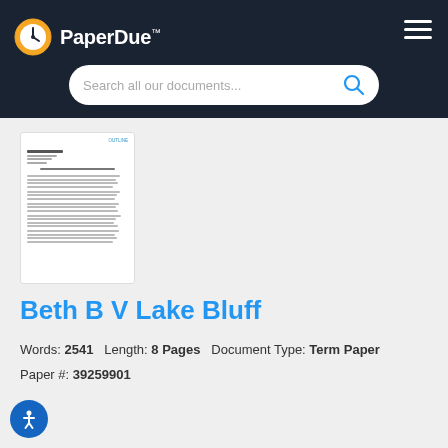PaperDue™
Search all our documents...
[Figure (screenshot): Preview thumbnail of a term paper document page with numbered list content]
Beth B V Lake Bluff
Words: 2541   Length: 8 Pages   Document Type: Term Paper
Paper #: 39259901